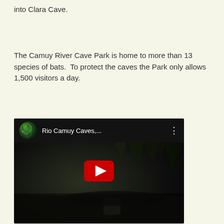into Clara Cave.
The Camuy River Cave Park is home to more than 13 species of bats.  To protect the caves the Park only allows 1,500 visitors a day.
[Figure (screenshot): YouTube video thumbnail showing Rio Camuy Caves with a dark cave interior, stalactites visible, a globe-like thumbnail icon in the top left, the title 'Rio Camuy Caves,...' in white text, a three-dot menu icon, and a red YouTube play button in the center.]